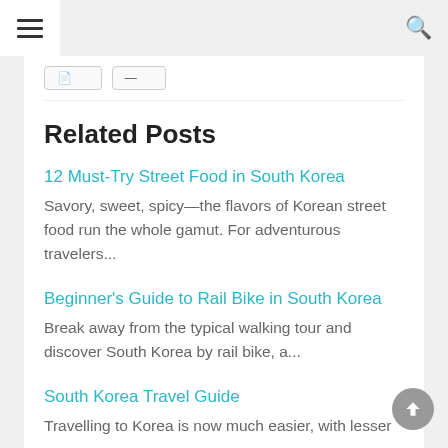Navigation header with hamburger menu and search icon
Related Posts
12 Must-Try Street Food in South Korea
Savory, sweet, spicy—the flavors of Korean street food run the whole gamut. For adventurous travelers...
Beginner's Guide to Rail Bike in South Korea
Break away from the typical walking tour and discover South Korea by rail bike, a...
South Korea Travel Guide
Travelling to Korea is now much easier, with lesser